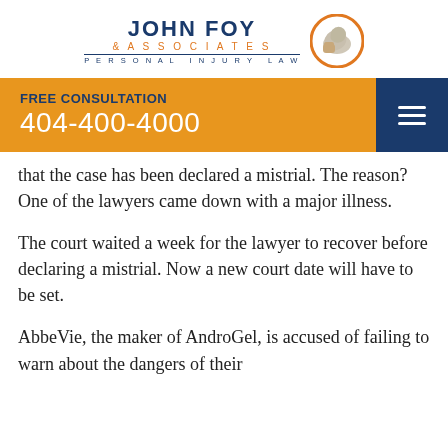[Figure (logo): John Foy & Associates Personal Injury Law logo with flexing arm icon in orange circle]
FREE CONSULTATION 404-400-4000
that the case has been declared a mistrial. The reason? One of the lawyers came down with a major illness.
The court waited a week for the lawyer to recover before declaring a mistrial. Now a new court date will have to be set.
AbbeVie, the maker of AndroGel, is accused of failing to warn about the dangers of their